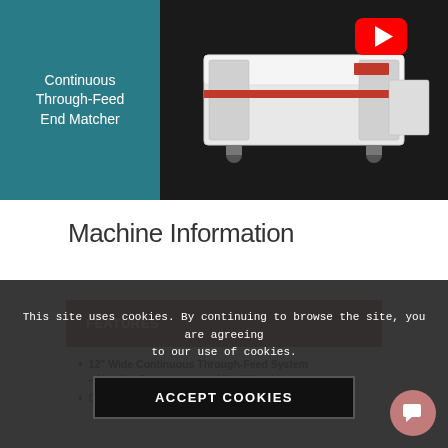[Figure (photo): Product image showing a Continuous Through-Feed End Matcher machine. Left panel is teal/dark cyan with white text reading 'Continuous Through-Feed End Matcher'. Right panel is dark background with a photo of the white industrial machine with red accent, and a YouTube play button overlay.]
Machine Information
| FEATURES |
| --- |
| 12" Wide Continuous Through-Feed System – Handles Random Length Min. 12" to Any Length |
| De... tongue & groove on hardwood flooring and paneling |
This site uses cookies. By continuing to browse the site, you are agreeing to our use of cookies.
ACCEPT COOKIES